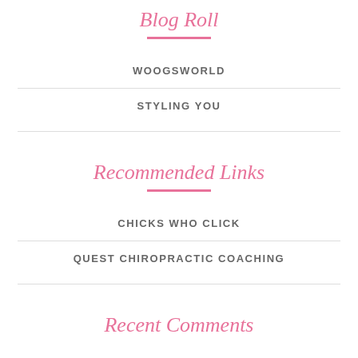Blog Roll
WOOGSWORLD
STYLING YOU
Recommended Links
CHICKS WHO CLICK
QUEST CHIROPRACTIC COACHING
Recent Comments